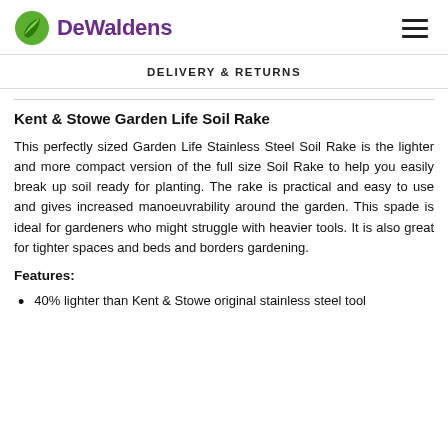DeWaldens
DELIVERY & RETURNS
Kent & Stowe Garden Life Soil Rake
This perfectly sized Garden Life Stainless Steel Soil Rake is the lighter and more compact version of the full size Soil Rake to help you easily break up soil ready for planting. The rake is practical and easy to use and gives increased manoeuvrability around the garden. This spade is ideal for gardeners who might struggle with heavier tools. It is also great for tighter spaces and beds and borders gardening.
Features:
40% lighter than Kent & Stowe original stainless steel tool